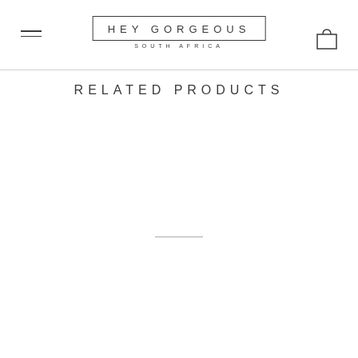HEY GORGEOUS SOUTH AFRICA
RELATED PRODUCTS